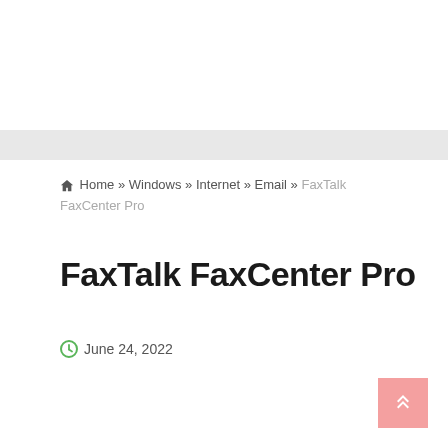Home » Windows » Internet » Email » FaxTalk FaxCenter Pro
FaxTalk FaxCenter Pro
June 24, 2022